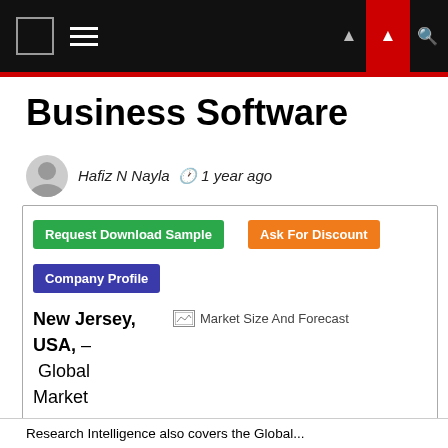Business Software
Business Software
Hafiz N Nayla  🕐 1 year ago
Request Download Sample
Ask For Discount
Company Profile
New Jersey, USA, – Global Market
[Figure (other): Market Size And Forecast image placeholder]
Research Intelligence also covers the Global...